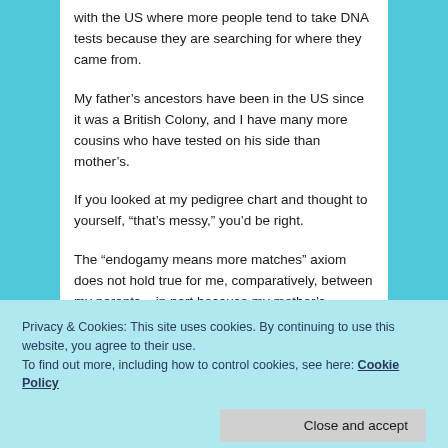with the US where more people tend to take DNA tests because they are searching for where they came from.
My father's ancestors have been in the US since it was a British Colony, and I have many more cousins who have tested on his side than mother's.
If you looked at my pedigree chart and thought to yourself, “that’s messy,” you’d be right.
The “endogamy means more matches” axiom does not hold true for me, comparatively, between my parents – in part because my mother’s German and Dutch lines are such recent immigrants.
Privacy & Cookies: This site uses cookies. By continuing to use this website, you agree to their use.
To find out more, including how to control cookies, see here: Cookie Policy